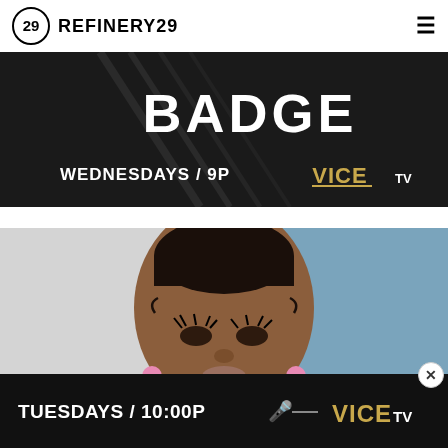REFINERY29
[Figure (photo): VICE TV ad banner — black and white image of person on subway stairs with large text BADGE, WEDNESDAYS / 9P, VICE TV logo]
[Figure (photo): Portrait photo of Megan Thee Stallion with sleek updo, dramatic makeup, and pink drop earrings against blue/grey background]
[Figure (photo): VICE TV ad banner — dark background with text TUESDAYS / 10:00P, microphone icon, VICE TV logo]